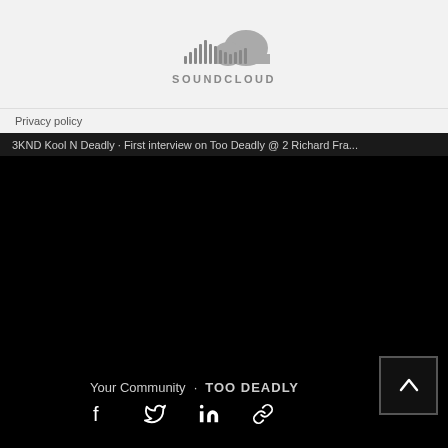[Figure (logo): SoundCloud logo with waveform bars and cloud shape, grey on light grey background]
Privacy policy
3KND Kool N Deadly · First interview on Too Deadly @ 2 Richard Fra...
[Figure (screenshot): Black embedded media player area]
Your Community · TOO DEADLY
[Figure (infographic): Share icons: Facebook, Twitter, LinkedIn, Link/chain icon]
[Figure (other): Back to top button with upward chevron arrow, dark with grey border]